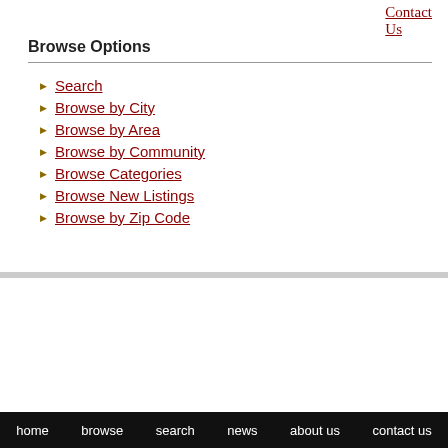Contact Us
Browse Options
Search
Browse by City
Browse by Area
Browse by Community
Browse Categories
Browse New Listings
Browse by Zip Code
Looking for More Information ?
SCHEDULE A SHOWING
REQUEST MORE INFORMATION
home   browse   search   news   about us   contact us